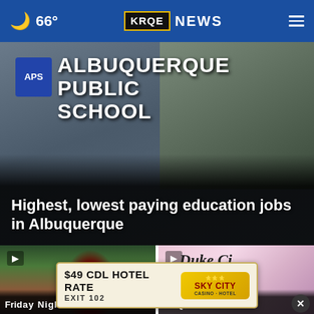66° KRQE NEWS
[Figure (photo): APS Albuquerque Public Schools sign with trees and building in background]
Highest, lowest paying education jobs in Albuquerque
[Figure (photo): Football player wearing jersey number 5 on a field]
Friday Night...
[Figure (photo): Duke City Now Offers card/banner, ABQ business delivery for...]
ABQ business delivery for...
[Figure (photo): Advertisement: $49 CDL HOTEL RATE EXIT 102 - Sky City Casino Hotel]